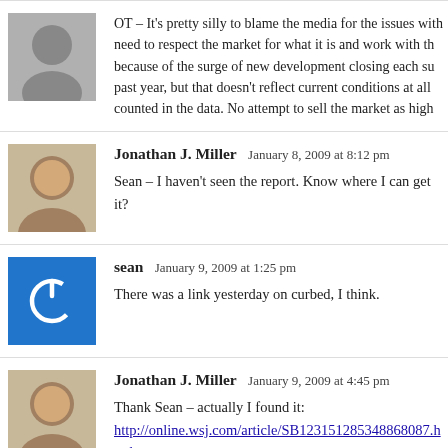OT – It's pretty silly to blame the media for the issues with... need to respect the market for what it is and work with th... because of the surge of new development closing each su... past year, but that doesn't reflect current conditions at all... counted in the data. No attempt to sell the market as high...
Jonathan J. Miller  January 8, 2009 at 8:12 pm
Sean – I haven't seen the report. Know where I can get it?
sean  January 9, 2009 at 1:25 pm
There was a link yesterday on curbed, I think.
Jonathan J. Miller  January 9, 2009 at 4:45 pm
Thank Sean – actually I found it:
http://online.wsj.com/article/SB123151285348868087.html
It's interesting because it places all its weight on CSI. Thi...